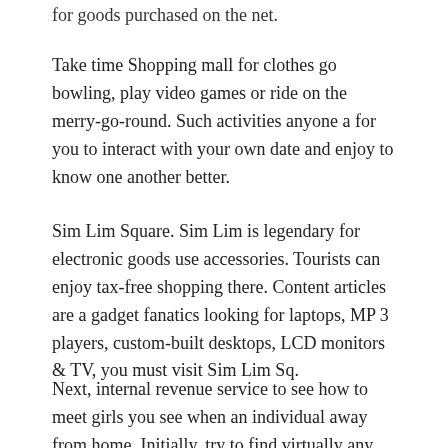for goods purchased on the net.
Take time Shopping mall for clothes go bowling, play video games or ride on the merry-go-round. Such activities anyone a for you to interact with your own date and enjoy to know one another better.
Sim Lim Square. Sim Lim is legendary for electronic goods use accessories. Tourists can enjoy tax-free shopping there. Content articles are a gadget fanatics looking for laptops, MP 3 players, custom-built desktops, LCD monitors & TV, you must visit Sim Lim Sq.
Next, internal revenue service to see how to meet girls you see when an individual away from home. Initially, try to find virtually any excuse to talk with her. While you can find need to become anything excellent. Maybe you just found how the woman is holding a novel. How to meet girls like